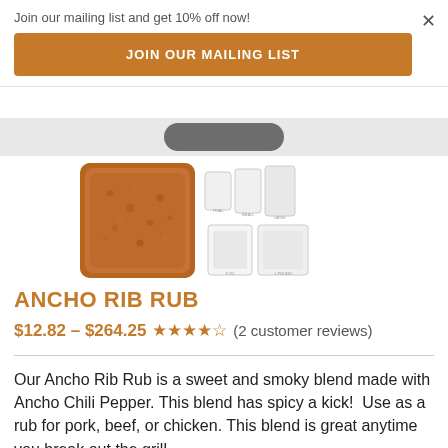Join our mailing list and get 10% off now!
JOIN OUR MAILING LIST
[Figure (photo): Product photo of Ancho Rib Rub spice blend - reddish-brown powder and packaging thumbnails]
ANCHO RIB RUB
$12.82 – $264.25 ★★★★½ (2 customer reviews)
Our Ancho Rib Rub is a sweet and smoky blend made with Ancho Chili Pepper. This blend has spicy a kick!  Use as a rub for pork, beef, or chicken. This blend is great anytime you break out the grill.